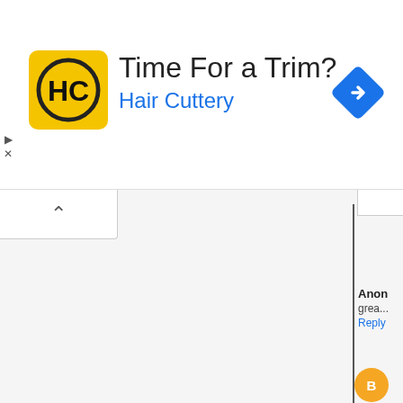[Figure (screenshot): Advertisement banner for Hair Cuttery with yellow logo icon showing HC letters, title 'Time For a Trim?' and subtitle 'Hair Cuttery' in blue, with a blue navigation diamond icon on the right]
[Figure (screenshot): Web page UI showing a collapse/expand button with caret up symbol, a vertical divider, and a comments section showing 'Anon' commenter with 'grea...' text and Reply link, then 'Norr' with Blogger orange B avatar, 'I lov... for t...' text and Reply link, and a nested reply box with a thumbnail image of a person with glasses]